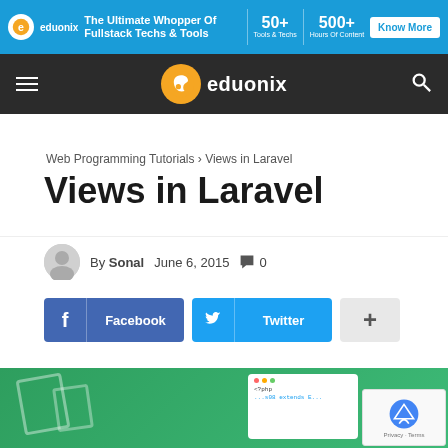[Figure (infographic): Eduonix ad banner: blue background with logo, 'The Ultimate Whopper Of Fullstack Techs & Tools', 50+ tools & techs, 500+ hours of content, Know More button]
eduonix — navigation bar with hamburger menu, logo, and search icon
Web Programming Tutorials › Views in Laravel
Views in Laravel
By Sonal   June 6, 2015   0
[Figure (infographic): Social share buttons: Facebook, Twitter, and plus button]
[Figure (illustration): Green background article header image with code/PHP snippet visible and reCAPTCHA overlay in bottom right]